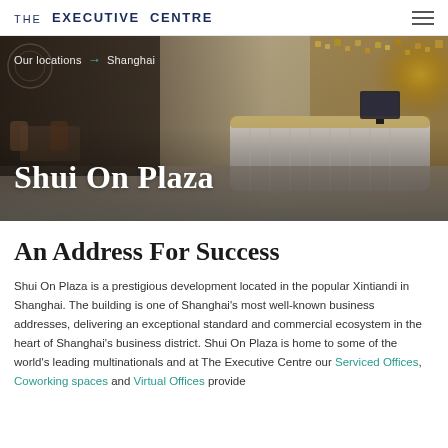THE EXECUTIVE CENTRE
[Figure (photo): Interior lobby photo of Shui On Plaza executive centre, showing a modern reception desk with white marble, gold mosaic wall, and seating area. Breadcrumb navigation shows 'Our locations → Shanghai'. Title overlay reads 'Shui On Plaza'.]
An Address For Success
Shui On Plaza is a prestigious development located in the popular Xintiandi in Shanghai. The building is one of Shanghai's most well-known business addresses, delivering an exceptional standard and commercial ecosystem in the heart of Shanghai's business district. Shui On Plaza is home to some of the world's leading multinationals and at The Executive Centre our Serviced Offices, Coworking spaces and Virtual Offices provide